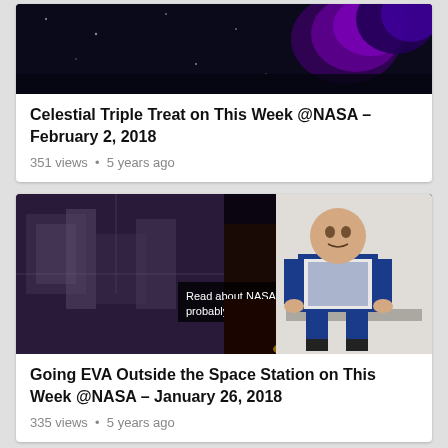[Figure (screenshot): Thumbnail image showing a dark space scene with colorful nebula/planet imagery for the Celestial Triple Treat video]
Celestial Triple Treat on This Week @NASA – February 2, 2018
351 views • 5 years ago
[Figure (screenshot): Thumbnail collage showing spacewalk footage, rocket launch, and an astronaut sitting inside the space station. Overlay text reads 'Read about NASA tech you probably use every day.']
Going EVA Outside the Space Station on This Week @NASA – January 26, 2018
335 views • 5 years ago